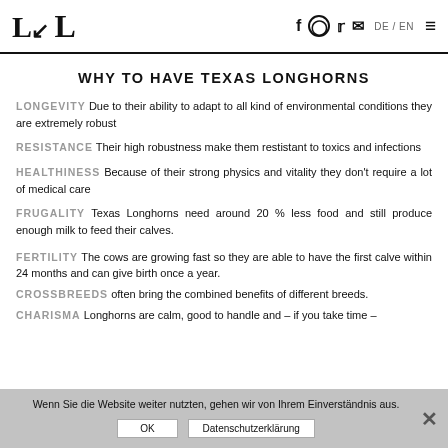L [logo] | f [Facebook icon] [Instagram icon] [Twitter icon] [Mail icon] | DE / EN | [hamburger menu]
WHY TO HAVE TEXAS LONGHORNS
LONGEVITY Due to their ability to adapt to all kind of environmental conditions they are extremely robust
RESISTANCE Their high robustness make them restistant to toxics and infections
HEALTHINESS Because of their strong physics and vitality they don't require a lot of medical care
FRUGALITY Texas Longhorns need around 20 % less food and still produce enough milk to feed their calves.
FERTILITY The cows are growing fast so they are able to have the first calve within 24 months and can give birth once a year.
CROSSBREEDS often bring the combined benefits of different breeds.
CHARISMA Longhorns are calm, good to handle and – if you take time –
Wenn Sie die Website weiter nutzten, gehen wir von Ihrem Einverständnis aus.
OK | Datenschutzerklärung